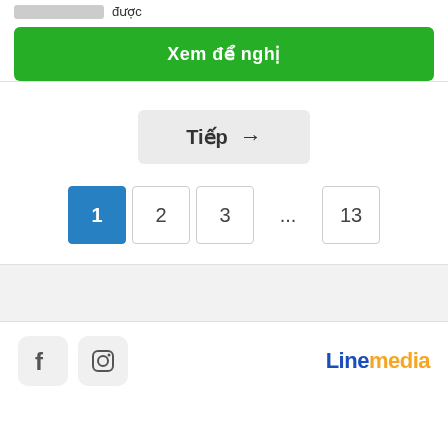được
Xem để nghị
Tiếp →
1  2  3  ...  13
[Figure (other): Gray background band/divider area]
[Figure (logo): Facebook icon and Instagram icon social media buttons, and Linemedia logo on right]